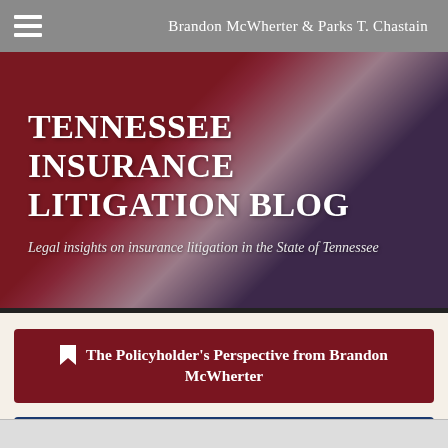Brandon McWherter & Parks T. Chastain
TENNESSEE INSURANCE LITIGATION BLOG
Legal insights on insurance litigation in the State of Tennessee
The Policyholder's Perspective from Brandon McWherter
The Insurance Company's Perspective from Parks T. Chastain